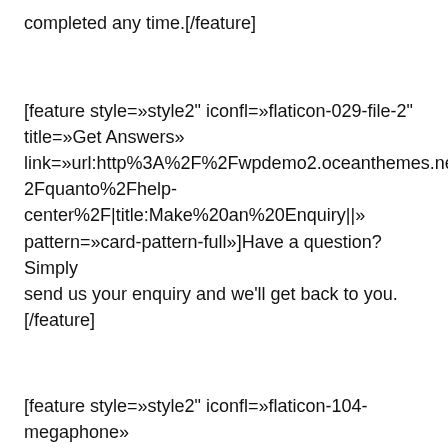completed any time.[/feature]
[feature style=»style2" iconfl=»flaticon-029-file-2" title=»Get Answers» link=»url:http%3A%2F%2Fwpdemo2.oceanthemes.net%2Fquanto%2Fhelp-center%2F|title:Make%20an%20Enquiry||» pattern=»card-pattern-full»]Have a question? Simply send us your enquiry and we'll get back to you.[/feature]
[feature style=»style2" iconfl=»flaticon-104-megaphone» title=»Call us» link=»url:tel%3ACall%20us%3A%20123%20345%20678|title:Call%20us%3A%20123%20345%20678||»